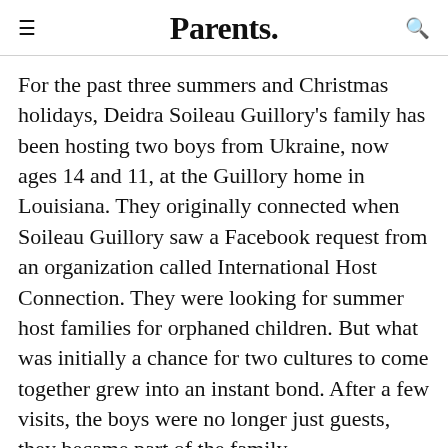Parents.
For the past three summers and Christmas holidays, Deidra Soileau Guillory's family has been hosting two boys from Ukraine, now ages 14 and 11, at the Guillory home in Louisiana. They originally connected when Soileau Guillory saw a Facebook request from an organization called International Host Connection. They were looking for summer host families for orphaned children. But what was initially a chance for two cultures to come together grew into an instant bond. After a few visits, the boys were no longer just guests, they became part of the family.